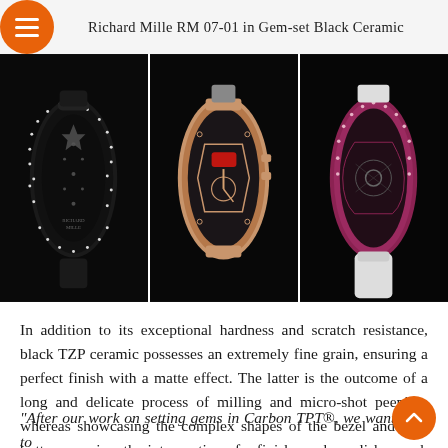Richard Mille RM 07-01 in Gem-set Black Ceramic
[Figure (photo): Three side-by-side close-up photos of the Richard Mille RM 07-01 watch in gem-set black ceramic: left shows gem-encrusted black ceramic case, center shows rose gold case detail, right shows a pink/ruby case with white strap.]
In addition to its exceptional hardness and scratch resistance, black TZP ceramic possesses an extremely fine grain, ensuring a perfect finish with a matte effect. The latter is the outcome of a long and delicate process of milling and micro-shot peening, whereas showcasing the complex shapes of the bezel and case bottom requires the intervention of a finisher, who polishes each angle by hand.
“After our work on setting gems in Carbon TPT®, we wanted to